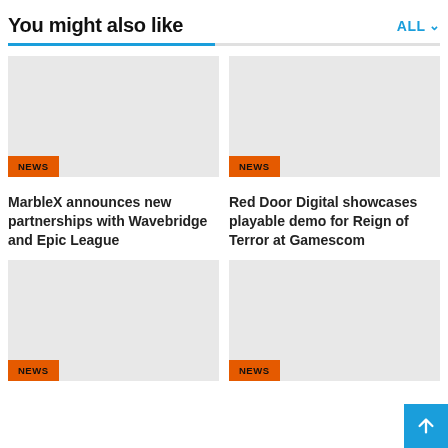You might also like
ALL
[Figure (photo): Placeholder image with NEWS tag, card 1]
MarbleX announces new partnerships with Wavebridge and Epic League
[Figure (photo): Placeholder image with NEWS tag, card 2]
Red Door Digital showcases playable demo for Reign of Terror at Gamescom
[Figure (photo): Placeholder image with NEWS tag, card 3]
[Figure (photo): Placeholder image with NEWS tag, card 4]